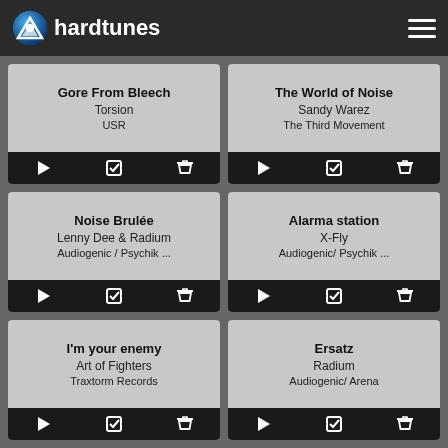hardtunes
Gore From Bleech / Torsion / USR
The World of Noise / Sandy Warez / The Third Movement
Noise Brulée / Lenny Dee & Radium / Audiogenic / Psychik ...
Alarma station / X-Fly / Audiogenic/ Psychik ...
I'm your enemy / Art of Fighters / Traxtorm Records
Ersatz / Radium / Audiogenic/ Arena